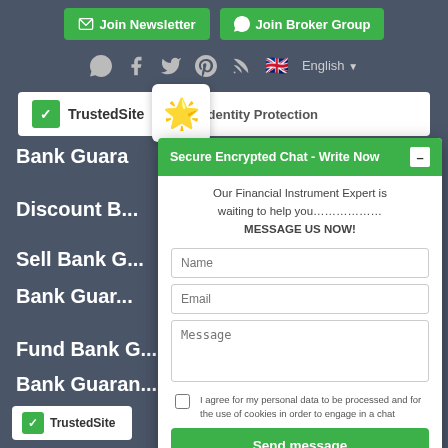Join Newsletter | Join Broker Group
[Figure (screenshot): Social media icons row: WhatsApp, Facebook, Twitter, Pinterest, RSS feed, UK flag with English language selector]
[Figure (logo): TrustedSite badge with checkmark and Shopper Identity Protection text]
Bank Guara...
Discount B...
Sell Bank G...
Bank Guar...
Fund Bank G...
Bank Guaran...
[Figure (infographic): Chat popup overlay: Secure Encrypted Chat - Write Now. Form with Name, Email, Message fields, checkbox for data processing consent, and Send message button.]
[Figure (logo): TrustedSite badge at bottom left]